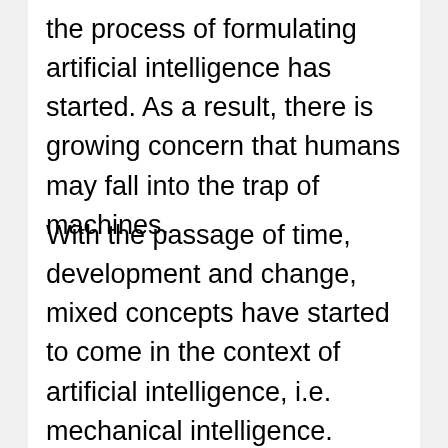the process of formulating artificial intelligence has started. As a result, there is growing concern that humans may fall into the trap of machines.
With the passage of time, development and change, mixed concepts have started to come in the context of artificial intelligence, i.e. mechanical intelligence. Overall, the world seems to be divided into two parts. A large group of people are working to control artificial civilization by advancing the idea that it can end human